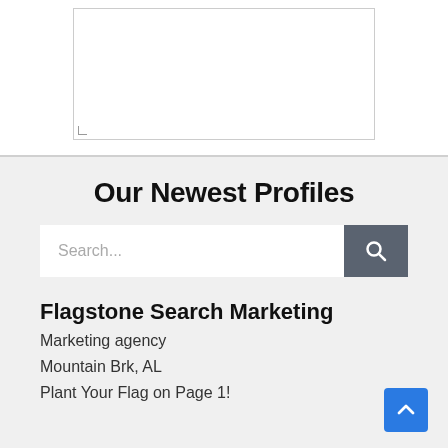[Figure (other): Empty white box with border, partial image placeholder at top of page]
Our Newest Profiles
[Figure (other): Search bar with placeholder text 'Search...' and a dark grey search button with magnifying glass icon]
Flagstone Search Marketing
Marketing agency
Mountain Brk, AL
Plant Your Flag on Page 1!